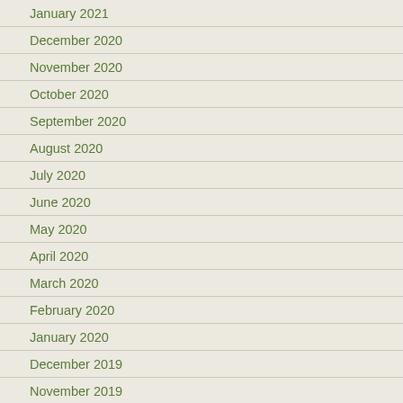January 2021
December 2020
November 2020
October 2020
September 2020
August 2020
July 2020
June 2020
May 2020
April 2020
March 2020
February 2020
January 2020
December 2019
November 2019